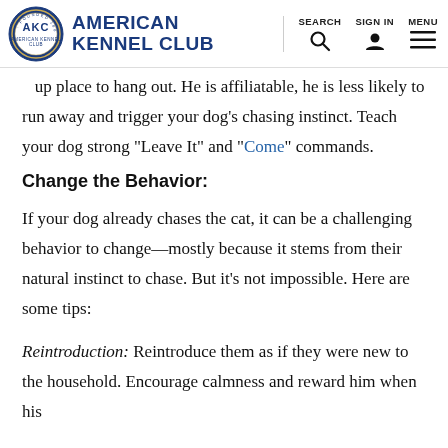AMERICAN KENNEL CLUB | SEARCH | SIGN IN | MENU
up place to hang out. He is affiliatable, he is less likely to run away and trigger your dog’s chasing instinct. Teach your dog strong “Leave It” and “Come” commands.
Change the Behavior:
If your dog already chases the cat, it can be a challenging behavior to change—mostly because it stems from their natural instinct to chase. But it’s not impossible. Here are some tips:
Reintroduction: Reintroduce them as if they were new to the household. Encourage calmness and reward him when his